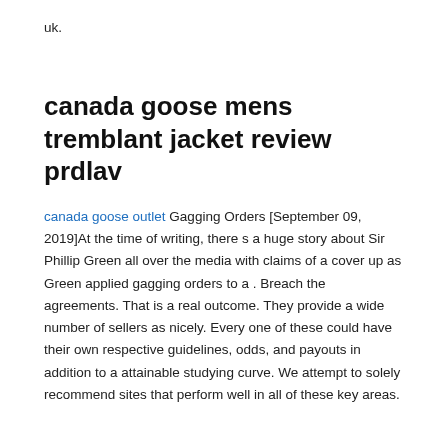uk.
canada goose mens tremblant jacket review prdlav
canada goose outlet Gagging Orders [September 09, 2019]At the time of writing, there s a huge story about Sir Phillip Green all over the media with claims of a cover up as Green applied gagging orders to a . Breach the agreements. That is a real outcome. They provide a wide number of sellers as nicely. Every one of these could have their own respective guidelines, odds, and payouts in addition to a attainable studying curve. We attempt to solely recommend sites that perform well in all of these key areas.